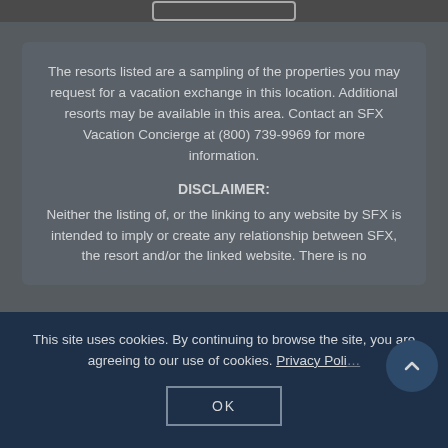The resorts listed are a sampling of the properties you may request for a vacation exchange in this location. Additional resorts may be available in this area. Contact an SFX Vacation Concierge at (800) 739-9969 for more information.
DISCLAIMER:
Neither the listing of, or the linking to any website by SFX is intended to imply or create any relationship between SFX, the resort and/or the linked website. There is no
This site uses cookies. By continuing to browse the site, you are agreeing to our use of cookies. Privacy Policy
OK